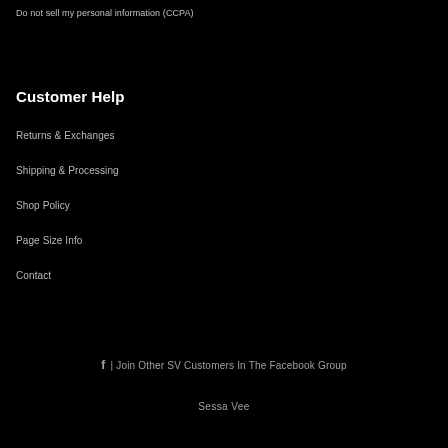Do not sell my personal information (CCPA)
Customer Help
Returns & Exchanges
Shipping & Processing
Shop Policy
Page Size Info
Contact
f | Join Other SV Customers In The Facebook Group
Sessa Vee